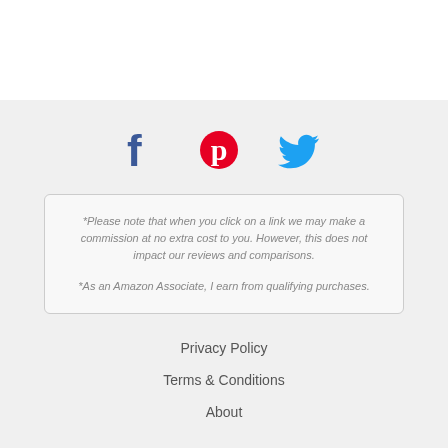[Figure (illustration): Social media share icons: Facebook (dark blue F), Pinterest (red P), Twitter (light blue bird)]
*Please note that when you click on a link we may make a commission at no extra cost to you. However, this does not impact our reviews and comparisons.

*As an Amazon Associate, I earn from qualifying purchases.
Privacy Policy
Terms & Conditions
About